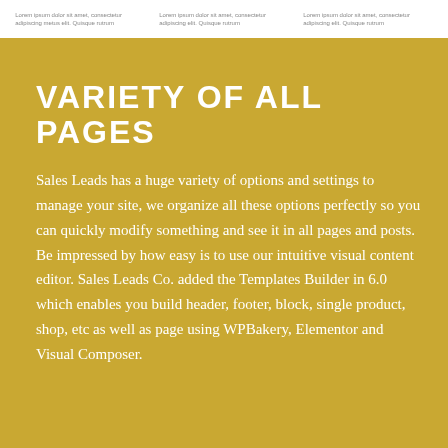[Figure (screenshot): Top strip showing three columns of lorem ipsum placeholder text on white background, resembling a website page preview]
VARIETY OF ALL PAGES
Sales Leads has a huge variety of options and settings to manage your site, we organize all these options perfectly so you can quickly modify something and see it in all pages and posts. Be impressed by how easy is to use our intuitive visual content editor. Sales Leads Co. added the Templates Builder in 6.0 which enables you build header, footer, block, single product, shop, etc as well as page using WPBakery, Elementor and Visual Composer.